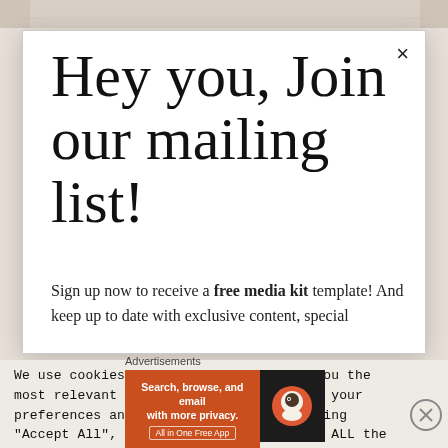[Figure (screenshot): Top strip showing a partial background image with light beige/tan wooden surface]
Hey you, Join our mailing list!
Sign up now to receive a free media kit template! And keep up to date with exclusive content, special
We use cookies on our website to give you the most relevant experience by remembering your preferences and repeat visits. By clicking "Accept All", you consent to the use of ALL the cookies. However, you may visit "Cookie Settings" to provide a controlled consent.
Advertisements
[Figure (screenshot): DuckDuckGo advertisement banner: orange left section with text 'Search, browse, and email with more privacy. All in One Free App' and dark right section with DuckDuckGo logo]